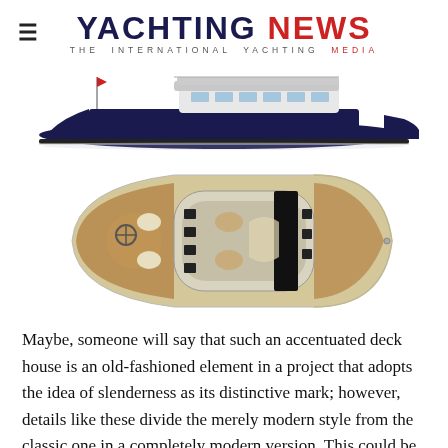YACHTING NEWS — THE INTERNATIONAL YACHTING MEDIA
[Figure (illustration): Side profile rendering of a large dark-hulled motor yacht with white superstructure and red flag at stern]
[Figure (illustration): Top-down deck plan rendering of a motor yacht showing teak decking, helm station, seating areas, and cabin with black windows]
Maybe, someone will say that such an accentuated deck house is an old-fashioned element in a project that adopts the idea of slenderness as its distinctive mark; however, details like these divide the merely modern style from the classic one in a completely modern version. This could be enough to